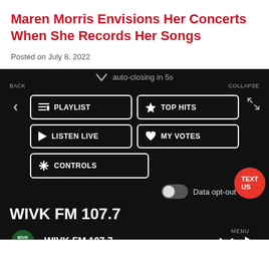Maren Morris Envisions Her Concerts When She Records Her Songs
Posted on July 8, 2022
[Figure (screenshot): Mobile radio app UI showing navigation menu with Playlist, Top Hits, Listen Live, My Votes, Controls buttons on black background, auto-closing message, Data opt-out toggle, WIVK FM 107.7 station name, bottom bar with WIVK logo, station name, menu controls with X and play button, and TEXT US badge]